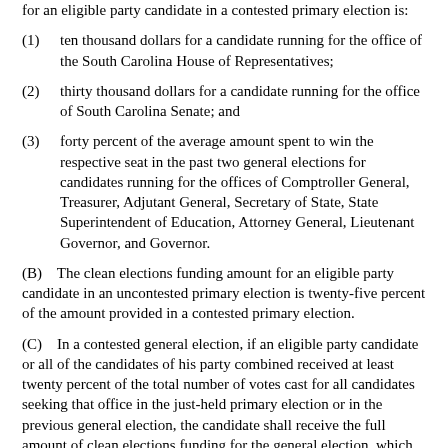for an eligible party candidate in a contested primary election is:
(1)    ten thousand dollars for a candidate running for the office of the South Carolina House of Representatives;
(2)    thirty thousand dollars for a candidate running for the office of South Carolina Senate; and
(3)    forty percent of the average amount spent to win the respective seat in the past two general elections for candidates running for the offices of Comptroller General, Treasurer, Adjutant General, Secretary of State, State Superintendent of Education, Attorney General, Lieutenant Governor, and Governor.
(B)    The clean elections funding amount for an eligible party candidate in an uncontested primary election is twenty-five percent of the amount provided in a contested primary election.
(C)    In a contested general election, if an eligible party candidate or all of the candidates of his party combined received at least twenty percent of the total number of votes cast for all candidates seeking that office in the just-held primary election or in the previous general election, the candidate shall receive the full amount of clean elections funding for the general election, which is: